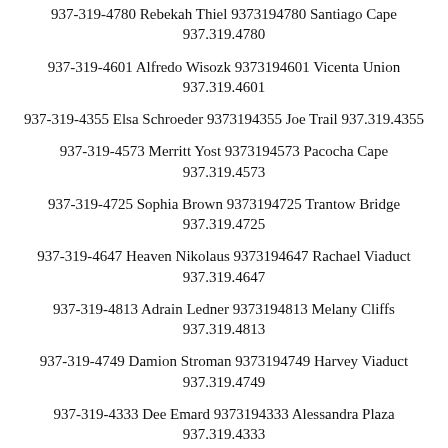937-319-4780 Rebekah Thiel 9373194780 Santiago Cape 937.319.4780
937-319-4601 Alfredo Wisozk 9373194601 Vicenta Union 937.319.4601
937-319-4355 Elsa Schroeder 9373194355 Joe Trail 937.319.4355
937-319-4573 Merritt Yost 9373194573 Pacocha Cape 937.319.4573
937-319-4725 Sophia Brown 9373194725 Trantow Bridge 937.319.4725
937-319-4647 Heaven Nikolaus 9373194647 Rachael Viaduct 937.319.4647
937-319-4813 Adrain Ledner 9373194813 Melany Cliffs 937.319.4813
937-319-4749 Damion Stroman 9373194749 Harvey Viaduct 937.319.4749
937-319-4333 Dee Emard 9373194333 Alessandra Plaza 937.319.4333